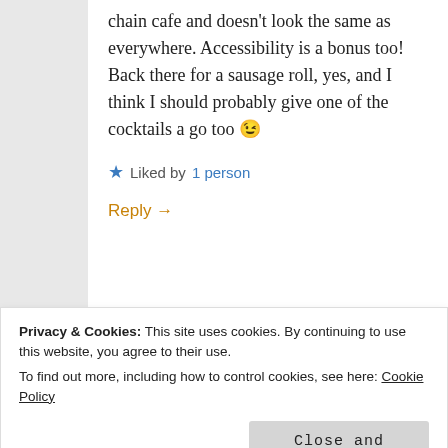chain cafe and doesn't look the same as everywhere. Accessibility is a bonus too! Back there for a sausage roll, yes, and I think I should probably give one of the cocktails a go too 😉
★ Liked by 1 person
Reply →
INVISIBLY ME
March 1, 2018 at 5:42 pm
Privacy & Cookies: This site uses cookies. By continuing to use this website, you agree to their use.
To find out more, including how to control cookies, see here: Cookie Policy
Close and accept
★ Liked by 2 people